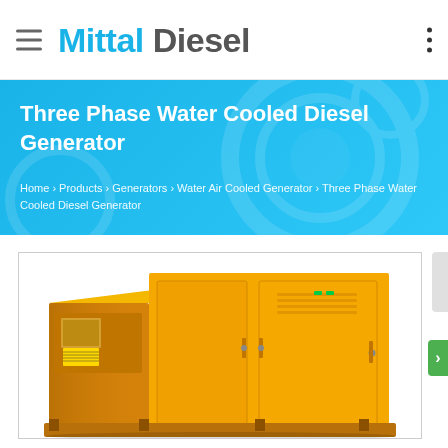Mittal Diesel
Three Phase Water Cooled Diesel Generator
Home › Products › Generators › Water Air Cooled Generator › Three Phase Water Cooled Diesel Generator
[Figure (photo): A yellow/orange industrial three phase water cooled diesel generator set with enclosure panels and doors, displayed against a white background.]